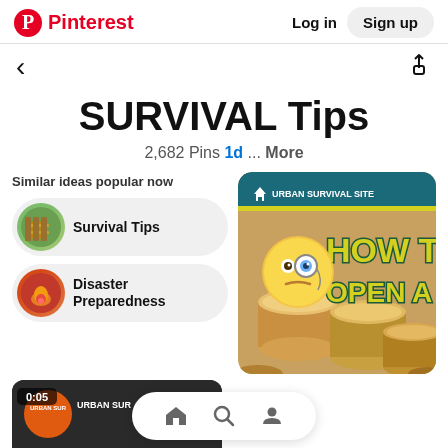Pinterest  Log in  Sign up
< (back navigation)
SURVIVAL Tips
2,682 Pins 1d ... More
Similar ideas popular now
Survival Tips
Disaster Preparedness
[Figure (screenshot): Urban Survival Site card: HOW TO OPEN A CAN with emoji and stacked cans photo]
[Figure (screenshot): Urban Survival video thumbnail bottom left, 0:05 badge]
Bottom navigation bar with home, search, and profile icons